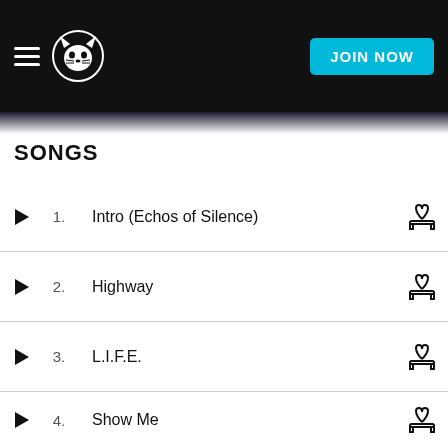Napster - JOIN NOW
SONGS
1. Intro (Echos of Silence)
2. Highway
3. L.I.F.E.
4. Show Me